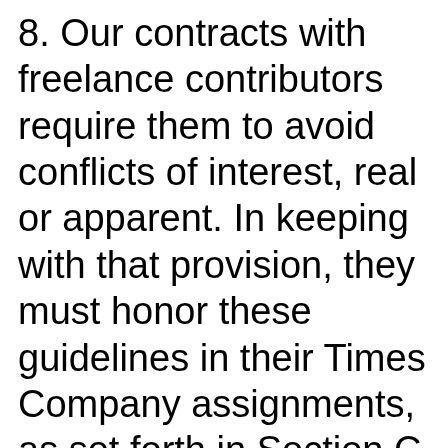8. Our contracts with freelance contributors require them to avoid conflicts of interest, real or apparent. In keeping with that provision, they must honor these guidelines in their Times Company assignments, as set forth in Section C below. Similarly, the makers of